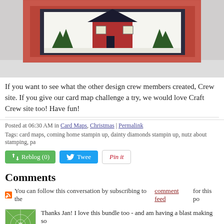[Figure (photo): Photo of a handmade Christmas card featuring a red barn/house with evergreen trees on a red patterned background, partially cropped at top]
If you want to see what the other design crew members created, Crew site. If you give our card map challenge a try, we would love Craft Crew site too! Have fun!
Posted at 06:30 AM in Card Maps, Christmas | Permalink
Tags: card maps, coming home stampin up, dainty diamonds stampin up, nutz about stamping, pa
[Figure (infographic): Social sharing buttons: Reblog (0), Tweet, Pin It]
Comments
You can follow this conversation by subscribing to the comment feed for this po
Thanks Jan! I love this bundle too - and am having a blast making so
Posted by: Terri | October 26, 2020 at 01:55 PM